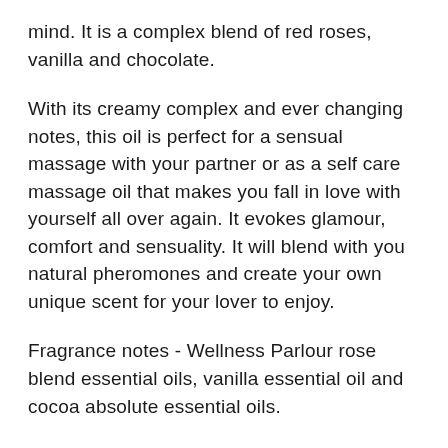mind. It is a complex blend of red roses, vanilla and chocolate.
With its creamy complex and ever changing notes, this oil is perfect for a sensual massage with your partner or as a self care massage oil that makes you fall in love with yourself all over again. It evokes glamour, comfort and sensuality. It will blend with you natural pheromones and create your own unique scent for your lover to enjoy.
Fragrance notes - Wellness Parlour rose blend essential oils, vanilla essential oil and cocoa absolute essential oils.
Ingredients - Grapeseed oil, Ghee, Apricot oil, Hemp oil, Baobab oil, Vanilla essential oil, attar of roses essential oil blend, Tea rose essential oil, emu oil, Kukui nut oil, Meadowfoam oil,